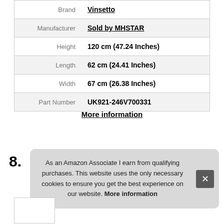| Attribute | Value |
| --- | --- |
| Brand | Vinsetto |
| Manufacturer | Sold by MHSTAR |
| Height | 120 cm (47.24 Inches) |
| Length | 62 cm (24.41 Inches) |
| Width | 67 cm (26.38 Inches) |
| Part Number | UK921-246V700331 |
More information
8.
As an Amazon Associate I earn from qualifying purchases. This website uses the only necessary cookies to ensure you get the best experience on our website. More information